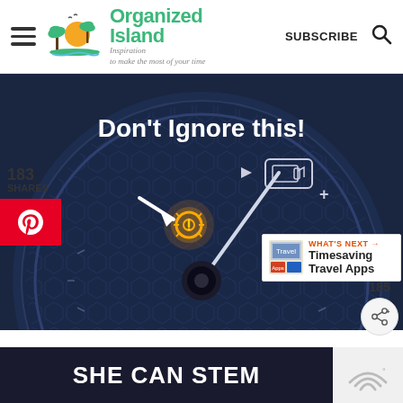Organized Island — Inspiration to make the most of your time | SUBSCRIBE
[Figure (photo): Close-up of a car dashboard gauge cluster with a glowing tire pressure monitoring system (TPMS) warning light in amber/orange. Text overlay reads 'Don't Ignore this!' with a white arrow pointing to the TPMS warning symbol. Also visible is a fuel gauge icon. The dashboard has a dark blue textured background.]
183 SHARES
WHAT'S NEXT → Timesaving Travel Apps
SHE CAN STEM